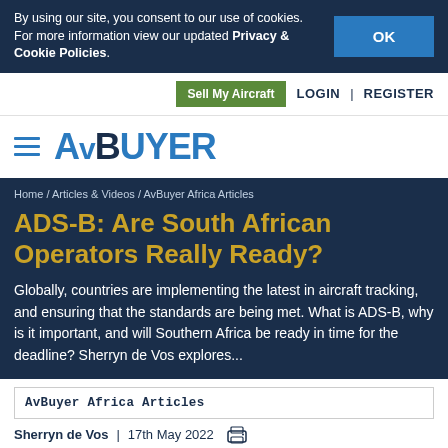By using our site, you consent to our use of cookies. For more information view our updated Privacy & Cookie Policies.
Sell My Aircraft  LOGIN  REGISTER
[Figure (logo): AvBuyer logo with hamburger menu icon]
Home / Articles & Videos / AvBuyer Africa Articles
ADS-B: Are South African Operators Really Ready?
Globally, countries are implementing the latest in aircraft tracking, and ensuring that the standards are being met. What is ADS-B, why is it important, and will Southern Africa be ready in time for the deadline? Sherryn de Vos explores...
AvBuyer Africa Articles
Sherryn de Vos  |  17th May 2022